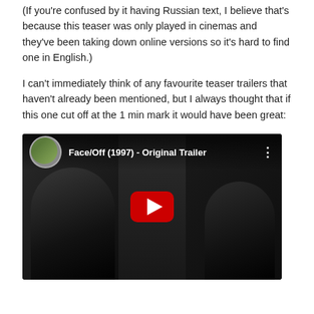(If you're confused by it having Russian text, I believe that's because this teaser was only played in cinemas and they've been taking down online versions so it's hard to find one in English.)
I can't immediately think of any favourite teaser trailers that haven't already been mentioned, but I always thought that if this one cut off at the 1 min mark it would have been great:
[Figure (screenshot): YouTube embedded video thumbnail showing Face/Off (1997) - Original Trailer with two actors facing each other in dark lighting, with a red YouTube play button in the center.]